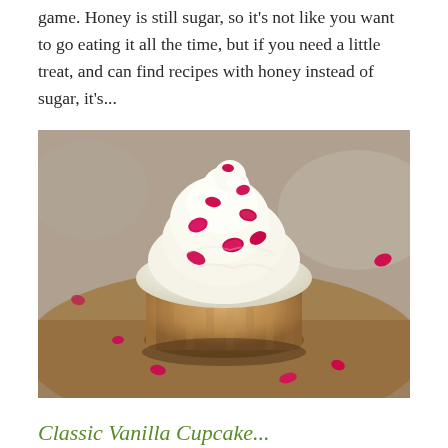game. Honey is still sugar, so it's not like you want to go eating it all the time, but if you need a little treat, and can find recipes with honey instead of sugar, it's...
[Figure (photo): Close-up photo of a cupcake with white cream frosting topped with scattered pink rose petals, sitting on a wooden surface with more petals scattered around]
Classic Vanilla Cupcake...